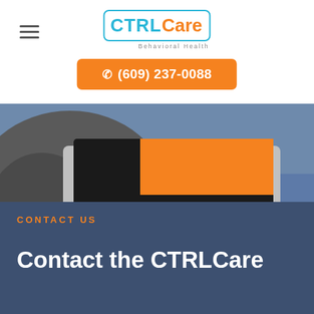[Figure (logo): CTRLCare Behavioral Health logo with cyan bracket border, CTRL in cyan and Care in orange, with 'Behavioral Health' text below]
☎ (609) 237-0088
[Figure (photo): Person typing on a laptop keyboard, viewed from above and behind, wearing jeans and a grey sweatshirt, laptop screen showing orange background]
CONTACT US
Contact the CTRLCare Wellness Team To...